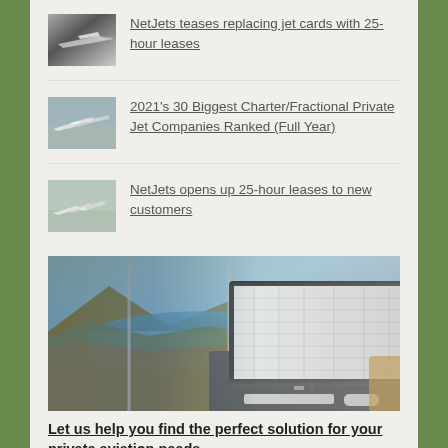NetJets teases replacing jet cards with 25-hour leases
2021's 30 Biggest Charter/Fractional Private Jet Companies Ranked (Full Year)
NetJets opens up 25-hour leases to new customers
[Figure (photo): Desk with iMac computer showing a spreadsheet, in front of large windows with a scenic coastal view of mountains and beach]
Let us help you find the perfect solution for your private aviation needs
Jet card pricing, safety standards, surcharges, discounts and